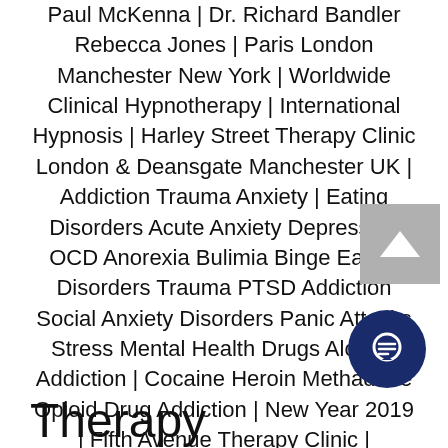Paul McKenna | Dr. Richard Bandler Rebecca Jones | Paris London Manchester New York | Worldwide Clinical Hypnotherapy | International Hypnosis | Harley Street Therapy Clinic London & Deansgate Manchester UK | Addiction Trauma Anxiety | Eating Disorders Acute Anxiety Depression OCD Anorexia Bulimia Binge Eating Disorders Trauma PTSD Addiction Social Anxiety Disorders Panic Attacks Stress Mental Health Drugs Alcohol Addiction | Cocaine Heroin Methadone Opioid Drug Addiction | New Year 2019 | Fifth Avenue Therapy Clinic | Manhattan | New York | USA | Worldwide
[Figure (other): Scroll-to-top button: grey square with white upward-pointing chevron arrow]
[Figure (other): Chat button: dark navy blue circle with white chat/comment icon (speech bubble with lines)]
Therapy